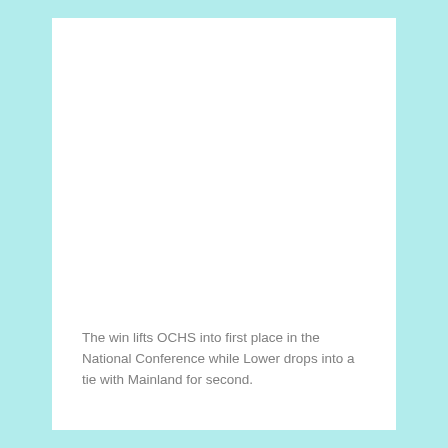The win lifts OCHS into first place in the National Conference while Lower drops into a tie with Mainland for second.